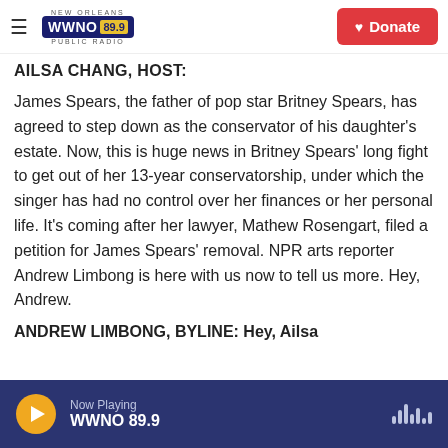NEW ORLEANS WWNO 89.9 PUBLIC RADIO | Donate
AILSA CHANG, HOST:
James Spears, the father of pop star Britney Spears, has agreed to step down as the conservator of his daughter's estate. Now, this is huge news in Britney Spears' long fight to get out of her 13-year conservatorship, under which the singer has had no control over her finances or her personal life. It's coming after her lawyer, Mathew Rosengart, filed a petition for James Spears' removal. NPR arts reporter Andrew Limbong is here with us now to tell us more. Hey, Andrew.
ANDREW LIMBONG, BYLINE: Hey, Ailsa
Now Playing WWNO 89.9